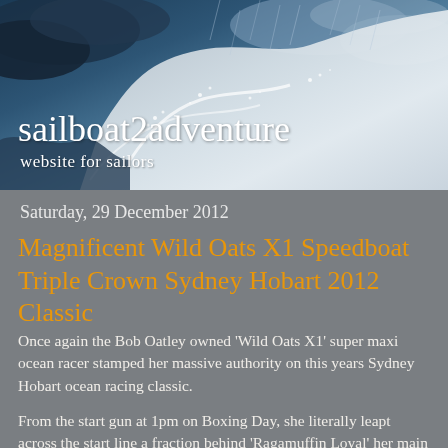[Figure (photo): Dramatic ocean wave or storm scene with dark blue water and white spray/foam, serving as website header background]
sailboat2adventure
website for sailors
Saturday, 29 December 2012
Magnificent Wild Oats X1 Speedboat Triple Crown Sydney Hobart 2012 Classic
Once again the Bob Oatley owned 'Wild Oats X1' super maxi ocean racer stamped her massive authority on this years Sydney Hobart ocean racing classic.
From the start gun at 1pm on Boxing Day, she literally leapt across the start line a fraction behind 'Ragamuffin Loyal' her main rival for this years elapsed time and overall honours.